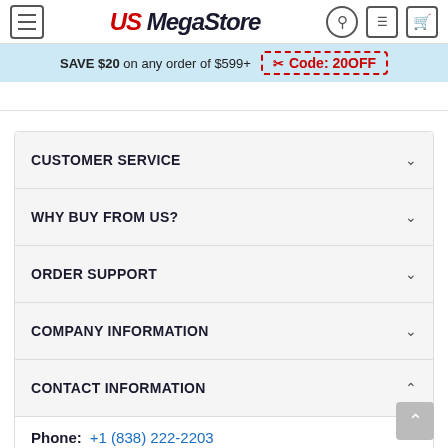US MegaStore
SAVE $20 on any order of $599+ Code: 20OFF
CUSTOMER SERVICE
WHY BUY FROM US?
ORDER SUPPORT
COMPANY INFORMATION
CONTACT INFORMATION
Phone: +1 (838) 222-2203
Fax: +1-718-504-6285